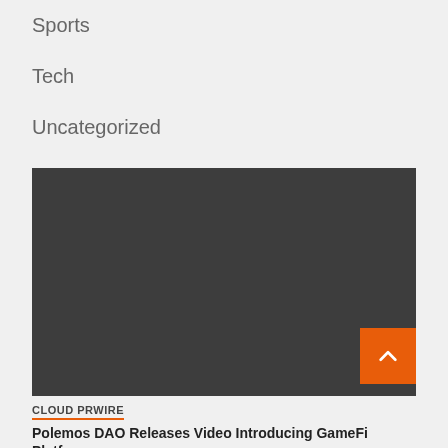Sports
Tech
Uncategorized
World
[Figure (other): Dark gray rectangular placeholder image or video embed area]
CLOUD PRWIRE
Polemos DAO Releases Video Introducing GameFi Platform: